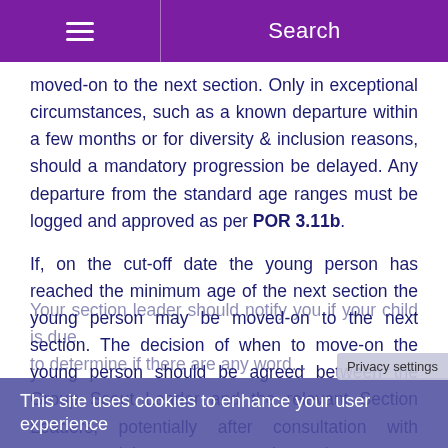Search
moved-on to the next section. Only in exceptional circumstances, such as a known departure within a few months or for diversity & inclusion reasons, should a mandatory progression be delayed. Any departure from the standard age ranges must be logged and approved as per POR 3.11b.
If, on the cut-off date the young person has reached the minimum age of the next section the young person may be moved-on to the next section. The decision of when to move-on the young person should be agreed between the Group Scout Leader and the relevant Section Leaders, potentially after consultation with parents and the young person themselves.
This site uses cookies to enhance your user experience
Your section leader should notify you if your child is due to determine if there are any word...